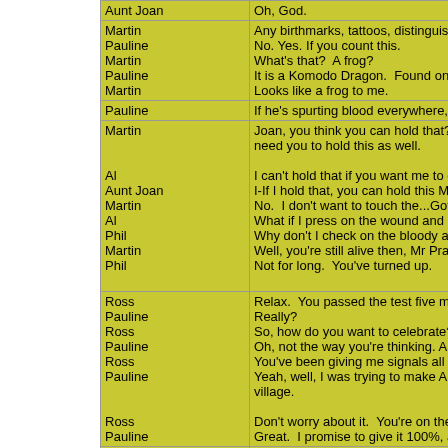| Speaker | Line |
| --- | --- |
| Aunt Joan | Oh, God. |
| Martin | Any birthmarks, tattoos, distinguishing m |
| Pauline | No. Yes. If you count this. |
| Martin | What's that?  A frog? |
| Pauline | It is a Komodo Dragon.  Found on the I |
| Martin | Looks like a frog to me. |
| Pauline | If he's spurting blood everywhere, I wan |
| Martin | Joan, you think you can hold that?  I'll s need you to hold this as well. |
| Al | I can't hold that if you want me to check |
| Aunt Joan | I-If I hold that, you can hold this Martin. |
| Martin | No.  I don't want to touch the...Got to pu |
| Al | What if I press on the wound and Joan p |
| Phil | Why don't I check on the bloody ambula |
| Martin | Well, you're still alive then, Mr Pratt. |
| Phil | Not for long.  You've turned up. |
| Ross | Relax.  You passed the test five minutes |
| Pauline | Really? |
| Ross | So, how do you want to celebrate? |
| Pauline | Oh, not the way you're thinking. Ahh.  S |
| Ross | You've been giving me signals all week. |
| Pauline | Yeah, well, I was trying to make Al jealou village. |
| Ross | Don't worry about it.  You're on the crew |
| Pauline | Great.  I promise to give it 100%, as lon |